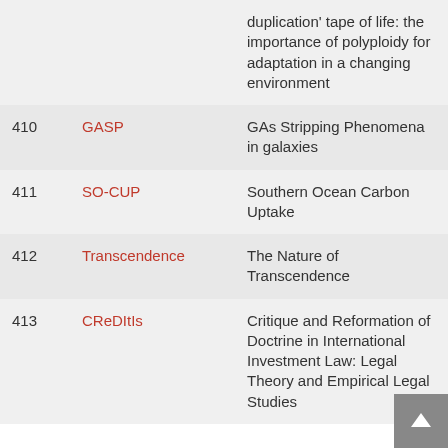| # | Abbreviation | Full Name |
| --- | --- | --- |
|  |  | duplication' tape of life: the importance of polyploidy for adaptation in a changing environment |
| 410 | GASP | GAs Stripping Phenomena in galaxies |
| 411 | SO-CUP | Southern Ocean Carbon Uptake |
| 412 | Transcendence | The Nature of Transcendence |
| 413 | CReDItIs | Critique and Reformation of Doctrine in International Investment Law: Legal Theory and Empirical Legal Studies |